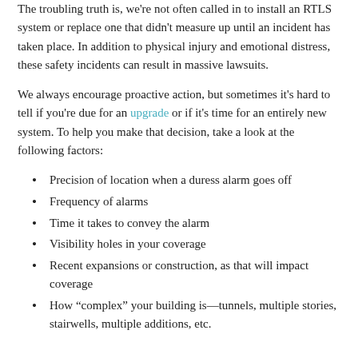The troubling truth is, we're not often called in to install an RTLS system or replace one that didn't measure up until an incident has taken place. In addition to physical injury and emotional distress, these safety incidents can result in massive lawsuits.
We always encourage proactive action, but sometimes it's hard to tell if you're due for an upgrade or if it's time for an entirely new system. To help you make that decision, take a look at the following factors:
Precision of location when a duress alarm goes off
Frequency of alarms
Time it takes to convey the alarm
Visibility holes in your coverage
Recent expansions or construction, as that will impact coverage
How “complex” your building is—tunnels, multiple stories, stairwells, multiple additions, etc.